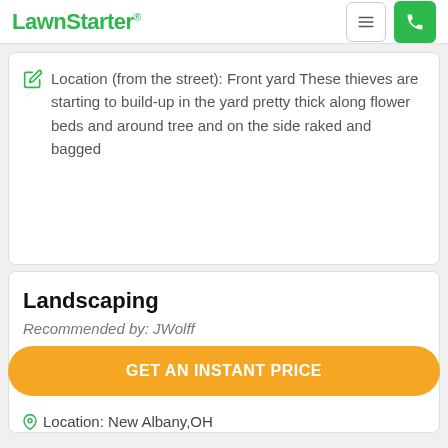LawnStarter
Location (from the street): Front yard These thieves are starting to build-up in the yard pretty thick along flower beds and around tree and on the side raked and bagged
Landscaping
Recommended by: JWolff
GET AN INSTANT PRICE
Location: New Albany,OH